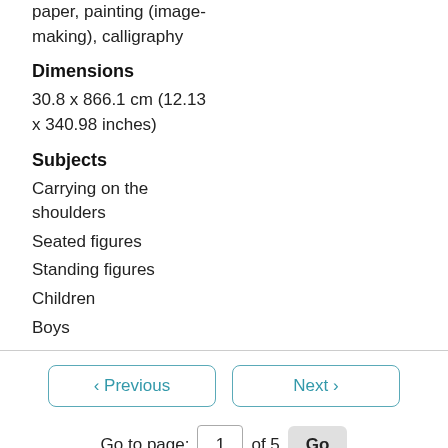paper, painting (image-making), calligraphy
Dimensions
30.8 x 866.1 cm (12.13 x 340.98 inches)
Subjects
Carrying on the shoulders
Seated figures
Standing figures
Children
Boys
< Previous   Next >
Go to page: 1 of 5 Go